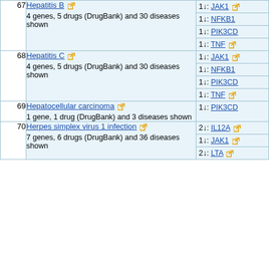| # | Disease | Genes |
| --- | --- | --- |
| 67 | Hepatitis B
4 genes, 5 drugs (DrugBank) and 30 diseases shown | 1↓: JAK1
1↓: NFKB1
1↓: PIK3CD
1↓: TNF |
| 68 | Hepatitis C
4 genes, 5 drugs (DrugBank) and 30 diseases shown | 1↓: JAK1
1↓: NFKB1
1↓: PIK3CD
1↓: TNF |
| 69 | Hepatocellular carcinoma
1 gene, 1 drug (DrugBank) and 3 diseases shown | 1↓: PIK3CD |
| 70 | Herpes simplex virus 1 infection
7 genes, 6 drugs (DrugBank) and 36 diseases shown | 2↓: IL12A
1↓: JAK1
2↓: LTA |